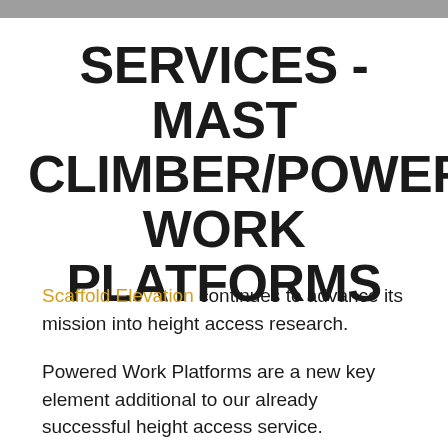SERVICES - MAST CLIMBER/POWERED WORK PLATFORMS
Scaffold Elevation continues to advance its mission into height access research.
Powered Work Platforms are a new key element additional to our already successful height access service.